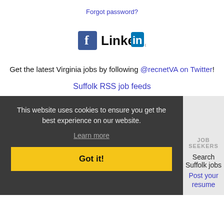Forgot password?
[Figure (logo): Facebook and LinkedIn social media icons/logos]
Get the latest Virginia jobs by following @recnetVA on Twitter!
Suffolk RSS job feeds
This website uses cookies to ensure you get the best experience on our website.
Learn more
Got it!
JOB SEEKERS
Search Suffolk jobs
Post your resume